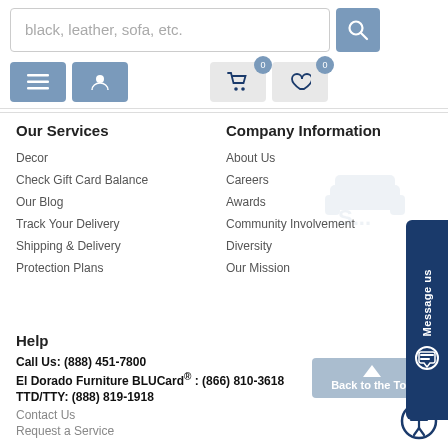[Figure (screenshot): Search bar with placeholder text 'black, leather, sofa, etc.' and a blue search button with magnifying glass icon]
[Figure (screenshot): Navigation icon buttons: hamburger menu (blue), user/account (blue), shopping cart with badge '0' (grey), heart/wishlist with badge '0' (grey)]
Our Services
Decor
Check Gift Card Balance
Our Blog
Track Your Delivery
Shipping & Delivery
Protection Plans
Company Information
About Us
Careers
Awards
Community Involvement
Diversity
Our Mission
Help
Call Us: (888) 451-7800
El Dorado Furniture BLUCard® : (866) 810-3618
TTD/TTY: (888) 819-1918
Contact Us
Request a Service